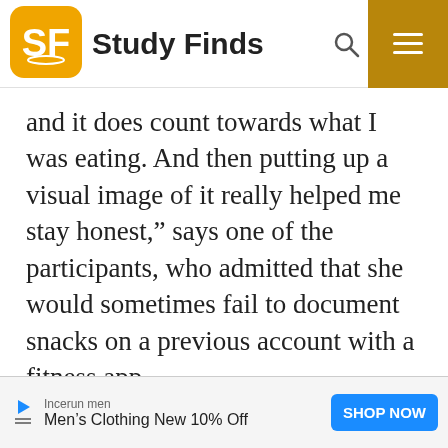Study Finds
and it does count towards what I was eating. And then putting up a visual image of it really helped me stay honest,” says one of the participants, who admitted that she would sometimes fail to document snacks on a previous account with a fitness app.
[Figure (infographic): Advertisement banner: Incerun men - Men's Clothing New 10% Off - SHOP NOW button]